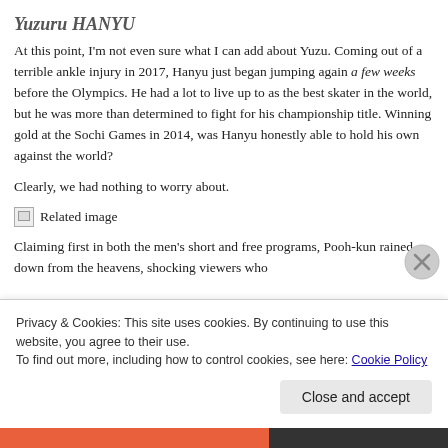Yuzuru HANYU
At this point, I'm not even sure what I can add about Yuzu. Coming out of a terrible ankle injury in 2017, Hanyu just began jumping again a few weeks before the Olympics. He had a lot to live up to as the best skater in the world, but he was more than determined to fight for his championship title. Winning gold at the Sochi Games in 2014, was Hanyu honestly able to hold his own against the world?
Clearly, we had nothing to worry about.
[Figure (photo): Related image (broken image placeholder)]
Claiming first in both the men's short and free programs, Pooh-kun rained down from the heavens, shocking viewers who
Privacy & Cookies: This site uses cookies. By continuing to use this website, you agree to their use.
To find out more, including how to control cookies, see here: Cookie Policy
Close and accept